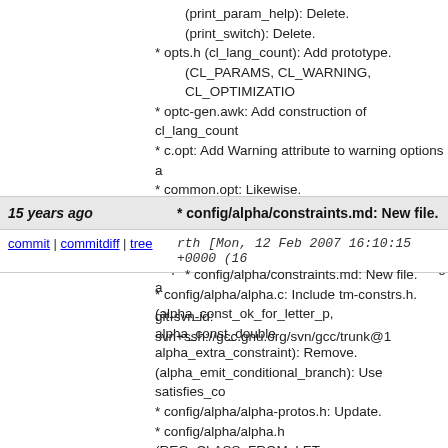(print_param_help): Delete.
(print_switch): Delete.
* opts.h (cl_lang_count): Add prototype.
(CL_PARAMS, CL_WARNING, CL_OPTIMIZATIO...
* optc-gen.awk: Add construction of cl_lang_count...
* c.opt: Add Warning attribute to warning options a...
* common.opt: Likewise.
  Add --help=.
  Add -fhelp and -ftarget-help as aliases for the tra...
* opt-functions.awk: Add code to handle Warning a...

git-svn-id: svn+ssh://gcc.gnu.org/svn/gcc/trunk@1...
| 15 years ago | * config/alpha/constraints.md: New file. |
| --- | --- |
| commit | commitdiff | tree | rth [Mon, 12 Feb 2007 16:10:15 +0000 (16... |
* config/alpha/constraints.md: New file.
* config/alpha/alpha.c: Include tm-constrs.h.
(alpha_const_ok_for_letter_p, alpha_const_double...
alpha_extra_constraint): Remove.
(alpha_emit_conditional_branch): Use satisfies_co...
* config/alpha/alpha-protos.h: Update.
* config/alpha/alpha.h (REG_CLASS_FROM_LET...
(CONST_OK_FOR_LETTER_P, CONST_DOUBL...
(EXTRA_CONSTRAINT): Remove.
* config/alpha/alpha.md: Include constraints.md.
(adddi splitter): Use satisfies_constraint_*.
* config/alpha/predicates.md (add_operand): Likew...